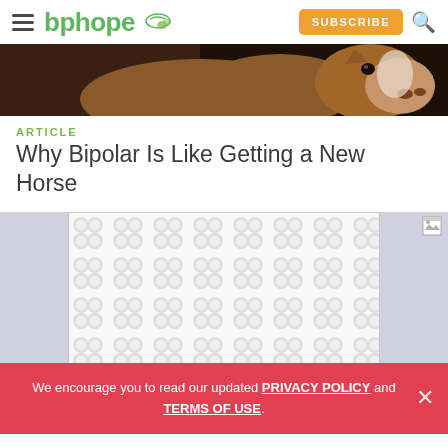bphope — SUBSCRIBE
[Figure (photo): Close-up of a horse's face/nose in a dark stable, brown and white coloring]
ARTICLE
Why Bipolar Is Like Getting a New Horse
[Figure (other): Placeholder/ad box with grey bubble/peanut repeating pattern on white background]
We encourage you to read our updated PRIVACY POLICY and TERMS OF USE.